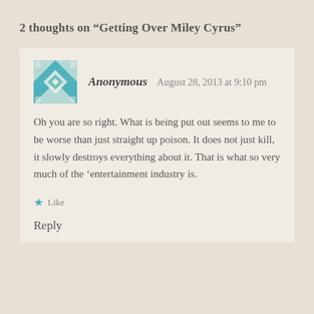2 thoughts on “Getting Over Miley Cyrus”
Anonymous   August 28, 2013 at 9:10 pm
Oh you are so right. What is being put out seems to me to be worse than just straight up poison. It does not just kill, it slowly destroys everything about it. That is what so very much of the ‘entertainment industry is.
★ Like
Reply